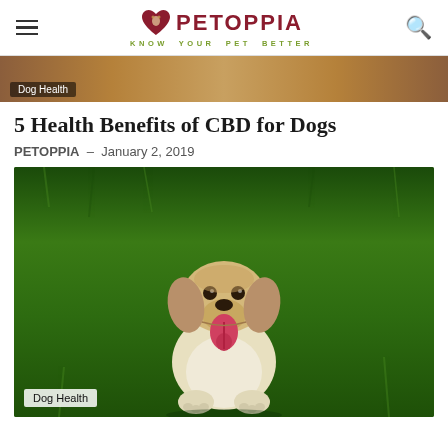PETOPPIA – KNOW YOUR PET BETTER
[Figure (photo): Partial top image of a dog, cropped with 'Dog Health' label badge at bottom left]
5 Health Benefits of CBD for Dogs
PETOPPIA – January 2, 2019
[Figure (photo): Yellow Labrador Retriever sitting on green grass, mouth open and tongue out, happy expression. 'Dog Health' badge at bottom left.]
Dog Health